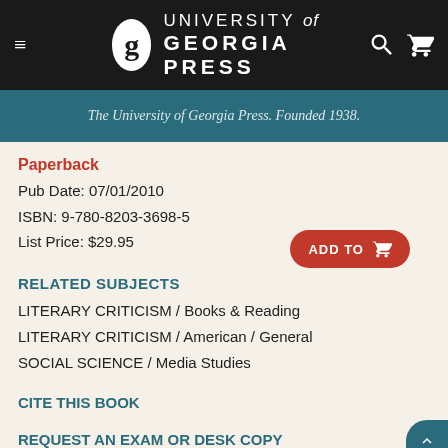[Figure (logo): University of Georgia Press navigation bar with hamburger menu, circular G logo, university name text, search and cart icons on dark background]
The University of Georgia Press. Founded 1938.
Paperback
Pub Date: 07/01/2010
ISBN: 9-780-8203-3698-5
List Price: $29.95
RELATED SUBJECTS
LITERARY CRITICISM / Books & Reading
LITERARY CRITICISM / American / General
SOCIAL SCIENCE / Media Studies
CITE THIS BOOK
REQUEST AN EXAM OR DESK COPY